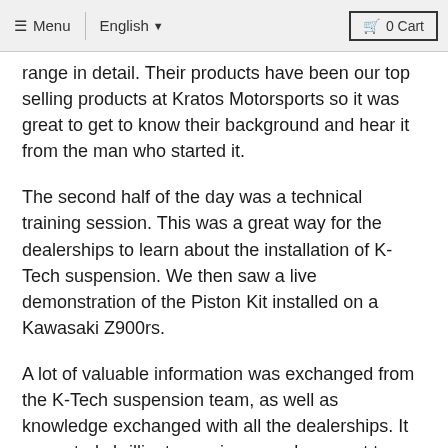≡ Menu | English ▾  🛒 0 Cart
range in detail. Their products have been our top selling products at Kratos Motorsports so it was great to get to know their background and hear it from the man who started it.
The second half of the day was a technical training session. This was a great way for the dealerships to learn about the installation of K-Tech suspension. We then saw a live demonstration of the Piston Kit installed on a Kawasaki Z900rs.
A lot of valuable information was exchanged from the K-Tech suspension team, as well as knowledge exchanged with all the dealerships. It was a truly brilliant experience and so great to catch up with so many familiar faces.
We'd like to thank K-Tech Suspension for taking the time